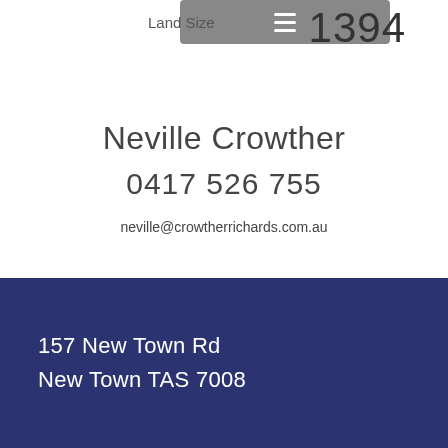Land Size   1394
Neville Crowther
0417 526 755
neville@crowtherrichards.com.au
157 New Town Rd
New Town TAS 7008